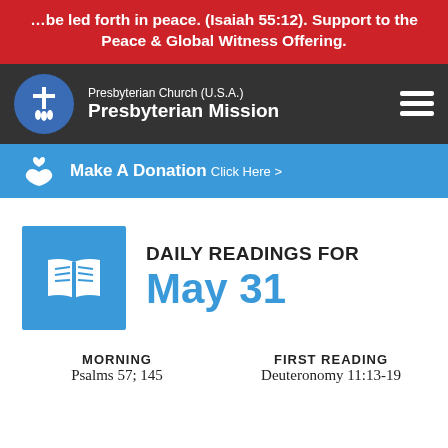…be led forth in peace. (Isaiah 55:12). Support to the Peace & Global Witness Offering.
[Figure (logo): Presbyterian Church (U.S.A.) Presbyterian Mission logo with navigation bar]
Make A Donation Click Here >
[Figure (illustration): Daily Readings for May 31 with open book icon on blue square]
MORNING
Psalms 57; 145
FIRST READING
Deuteronomy 11:13-19